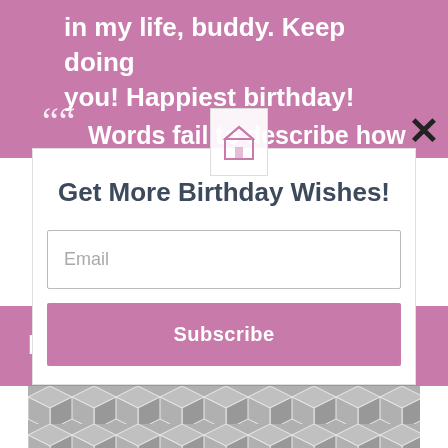in my life, buddy. Keep doing you! Happiest birthday!
Words fail to describe how
Get More Birthday Wishes!
Email
Subscribe
better when you came into this
[Figure (illustration): Geometric cube/hexagon pattern in gray and white at the bottom of the page]